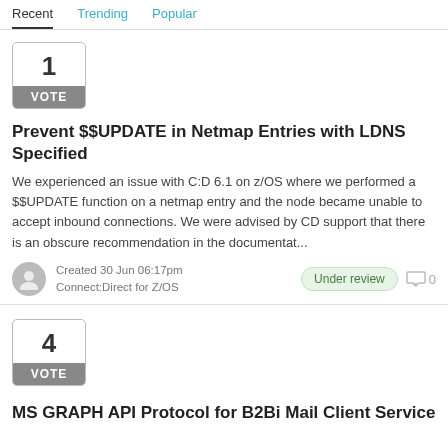Recent | Trending | Popular
1 VOTE
Prevent $$UPDATE in Netmap Entries with LDNS Specified
We experienced an issue with C:D 6.1 on z/OS where we performed a $$UPDATE function on a netmap entry and the node became unable to accept inbound connections. We were advised by CD support that there is an obscure recommendation in the documentat...
Created 30 Jun 06:17pm
Connect:Direct for Z/OS
Under review
0
4 VOTE
MS GRAPH API Protocol for B2Bi Mail Client Service